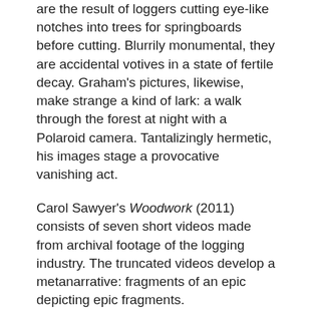are the result of loggers cutting eye-like notches into trees for springboards before cutting. Blurrily monumental, they are accidental votives in a state of fertile decay. Graham's pictures, likewise, make strange a kind of lark: a walk through the forest at night with a Polaroid camera. Tantalizingly hermetic, his images stage a provocative vanishing act.
Carol Sawyer's Woodwork (2011) consists of seven short videos made from archival footage of the logging industry. The truncated videos develop a metanarrative: fragments of an epic depicting epic fragments.
Mike Andrew McLean's series JR (2015–ongoing) documents the ongoing narrative of "ghost town" Jordan River, northwest of Victoria. In 2014, residents were told that the combination of a nearby dam and seismic activity meant the threat of sudden flood in the event of an earthquake, an apocalyptic prophecy that loomed large for the artist and, at times, the